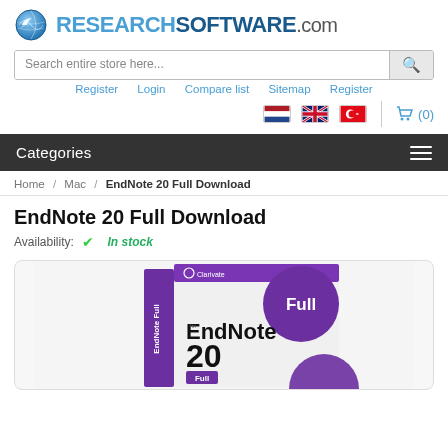[Figure (logo): ResearchSoftware.com logo with blue globe icon and bold text]
Search entire store here...
Register  Login  Compare list  Sitemap  Register
[Figure (infographic): Dutch flag, UK flag, Turkish flag icons and shopping cart (0)]
Categories
Home / Mac / EndNote 20 Full Download
EndNote 20 Full Download
Availability: ✔ In stock
[Figure (photo): EndNote 20 Full Download product box — white and purple box with Clarivate branding, purple 'Full' circle badge, text EndNot 20 Full on box]